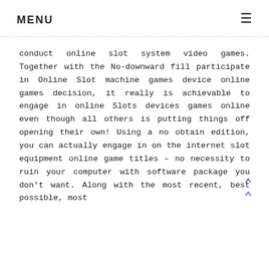MENU
conduct online slot system video games. Together with the No-downward fill participate in Online Slot machine games device online games decision, it really is achievable to engage in online Slots devices games online even though all others is putting things off opening their own! Using a no obtain edition, you can actually engage in on the internet slot equipment online game titles – no necessity to ruin your computer with software package you don't want. Along with the most recent, best possible, most